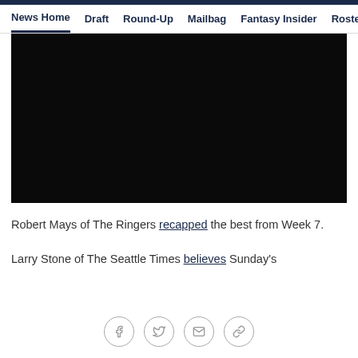News Home | Draft | Round-Up | Mailbag | Fantasy Insider | Roste
[Figure (photo): Black video player area]
Robert Mays of The Ringers recapped the best from Week 7.
Larry Stone of The Seattle Times believes Sunday's